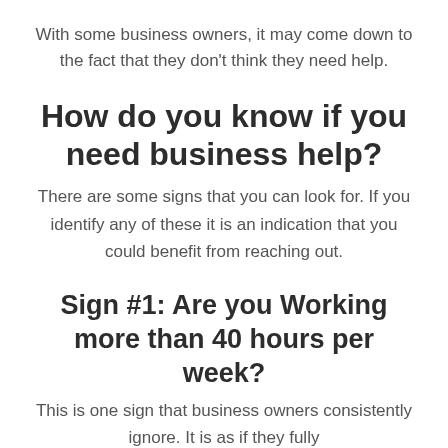With some business owners, it may come down to the fact that they don't think they need help.
How do you know if you need business help?
There are some signs that you can look for. If you identify any of these it is an indication that you could benefit from reaching out.
Sign #1: Are you Working more than 40 hours per week?
This is one sign that business owners consistently ignore. It is as if they fully